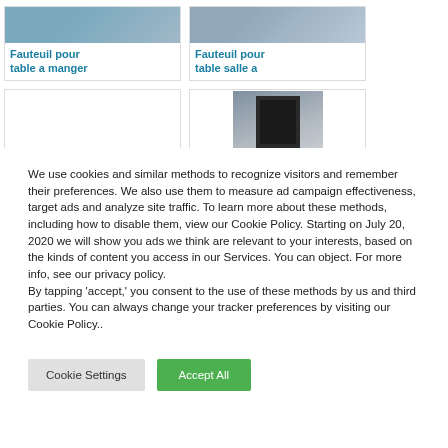[Figure (photo): Product card showing an armchair image at top with teal title text 'Fauteuil pour table a manger']
[Figure (photo): Product card showing an armchair image at top with teal title text 'Fauteuil pour table salle a']
[Figure (photo): Empty product card placeholder (no image, no text)]
[Figure (photo): Product card showing a decorative room image with a framed sign]
We use cookies and similar methods to recognize visitors and remember their preferences. We also use them to measure ad campaign effectiveness, target ads and analyze site traffic. To learn more about these methods, including how to disable them, view our Cookie Policy. Starting on July 20, 2020 we will show you ads we think are relevant to your interests, based on the kinds of content you access in our Services. You can object. For more info, see our privacy policy.
By tapping 'accept,' you consent to the use of these methods by us and third parties. You can always change your tracker preferences by visiting our Cookie Policy..
Cookie Settings
Accept All